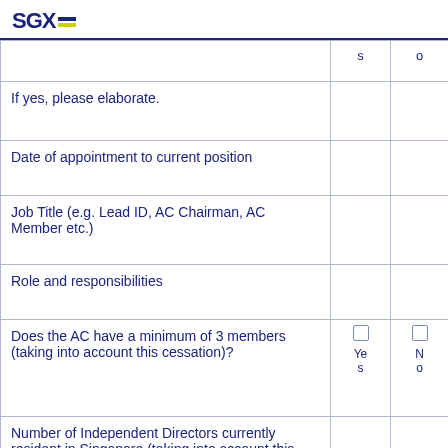SGX
|  | S | O |
| --- | --- | --- |
| If yes, please elaborate. |  |  |
| Date of appointment to current position |  |  |
| Job Title (e.g. Lead ID, AC Chairman, AC Member etc.) |  |  |
| Role and responsibilities |  |  |
| Does the AC have a minimum of 3 members (taking into account this cessation)? | Yes | No |
| Number of Independent Directors currently resident in Singapore (taking into account this cessation). |  |  |
| Do Independent Directors currently resident... |  |  |